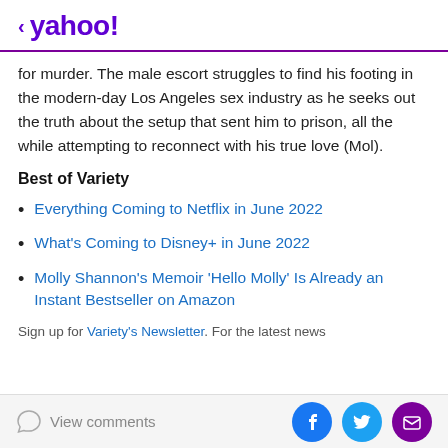< yahoo!
for murder. The male escort struggles to find his footing in the modern-day Los Angeles sex industry as he seeks out the truth about the setup that sent him to prison, all the while attempting to reconnect with his true love (Mol).
Best of Variety
Everything Coming to Netflix in June 2022
What's Coming to Disney+ in June 2022
Molly Shannon's Memoir 'Hello Molly' Is Already an Instant Bestseller on Amazon
Sign up for Variety's Newsletter. For the latest news
View comments